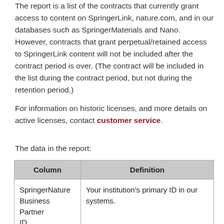The report is a list of the contracts that currently grant access to content on SpringerLink, nature.com, and in our databases such as SpringerMaterials and Nano. However, contracts that grant perpetual/retained access to SpringerLink content will not be included after the contract period is over. (The contract will be included in the list during the contract period, but not during the retention period.)
For information on historic licenses, and more details on active licenses, contact customer service.
The data in the report:
| Column | Definition |
| --- | --- |
| SpringerNature Business Partner ID | Your institution's primary ID in our systems. |
| Contract number | The identifier for the contract at the… |